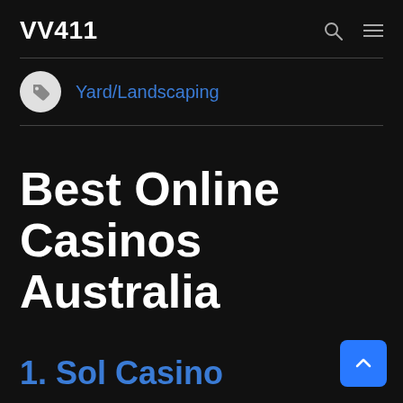VV411
Yard/Landscaping
Best Online Casinos Australia
1. Sol Casino